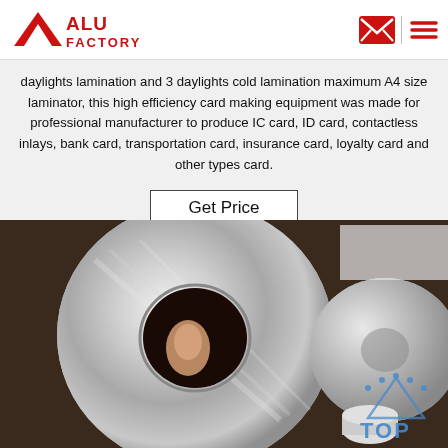[Figure (logo): ALU FACTORY logo with red triangle and red bold text]
daylights lamination and 3 daylights cold lamination maximum A4 size laminator, this high efficiency card making equipment was made for professional manufacturer to produce IC card, ID card, contactless inlays, bank card, transportation card, insurance card, loyalty card and other types card.
Get Price
[Figure (photo): Close-up photo of shiny metallic aluminum foil rolls, one large roll in the center with a finger visible through the core hole, and another roll partially visible on the right. A blue 'TOP' watermark with dots is in the lower right corner.]